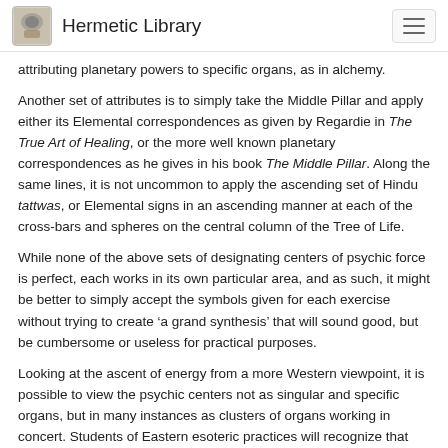Hermetic Library
attributing planetary powers to specific organs, as in alchemy.
Another set of attributes is to simply take the Middle Pillar and apply either its Elemental correspondences as given by Regardie in The True Art of Healing, or the more well known planetary correspondences as he gives in his book The Middle Pillar. Along the same lines, it is not uncommon to apply the ascending set of Hindu tattwas, or Elemental signs in an ascending manner at each of the cross-bars and spheres on the central column of the Tree of Life.
While none of the above sets of designating centers of psychic force is perfect, each works in its own particular area, and as such, it might be better to simply accept the symbols given for each exercise without trying to create ‘a grand synthesis’ that will sound good, but be cumbersome or useless for practical purposes.
Looking at the ascent of energy from a more Western viewpoint, it is possible to view the psychic centers not as singular and specific organs, but in many instances as clusters of organs working in concert. Students of Eastern esoteric practices will recognize that the New Age system of seven chakras neatly arranged with an ascending chromatic scale is not easily found in yoga or tantra.